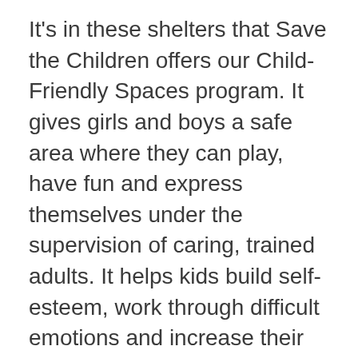It's in these shelters that Save the Children offers our Child-Friendly Spaces program. It gives girls and boys a safe area where they can play, have fun and express themselves under the supervision of caring, trained adults. It helps kids build self-esteem, work through difficult emotions and increase their ability to “bounce back”.
Rachel was relieved to see Marisol having fun with the other children in our program. “I am just overwhelmed to see my daughter playing and happy again,” she said while choking back